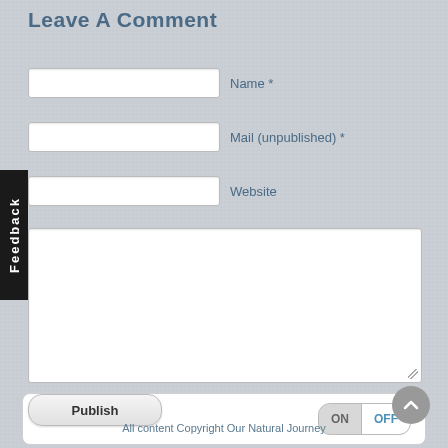Leave A Comment
Name *
Mail (unpublished) *
Website
Feedback
Publish
Mobile Theme
ON OFF
All content Copyright Our Natural Journey